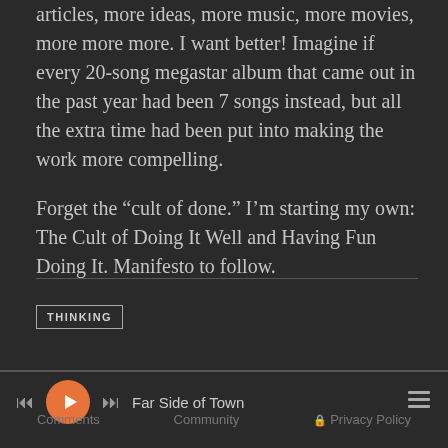articles, more ideas, more music, more movies, more more more. I want better! Imagine if every 20-song megastar album that came out in the past year had been 7 songs instead, but all the extra time had been put into making the work more compelling.
Forget the “cult of done.” I’m starting my own: The Cult of Doing It Well and Having Fun Doing It. Manifesto to follow.
THINKING
[Figure (other): Media player bar with rewind, play, and fast-forward buttons, track name 'Far Side of Town', and playlist icon]
Comments   Community   🔒 Privacy Policy